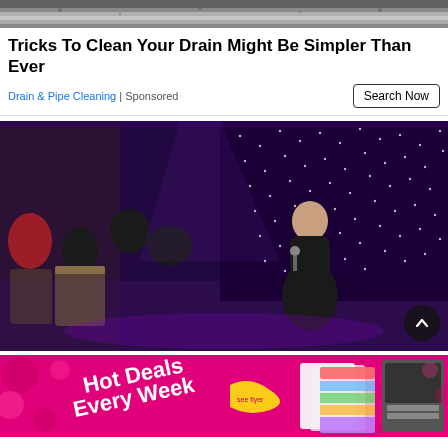[Figure (photo): Top portion of a dark dish/drain with grainy texture, partially visible at top of page]
Tricks To Clean Your Drain Might Be Simpler Than Ever
Drain & Pipe Cleaning | Sponsored
Search Now
[Figure (photo): Indoor event/nightclub scene: a performer crouching on a dance floor holding a microphone, audience seated at tables, colorful LED star backdrop and stage lighting in purple and blue tones]
[Figure (photo): Pink promotional banner advertisement reading 'Hot Deals Every Week' with decorative flowers and images of flyers/booklets]